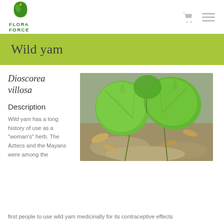[Figure (logo): Flora Force logo with green leaf icon and text FLORA FORCE]
Wild yam
Dioscorea villosa
Description
[Figure (photo): Photo of wild yam plant (Dioscorea villosa) showing large heart-shaped green leaves on rocky ground]
Wild yam has a long history of use as a "woman's" herb. The Aztecs and the Mayans were among the first people to use wild yam medicinally for its contraceptive effects